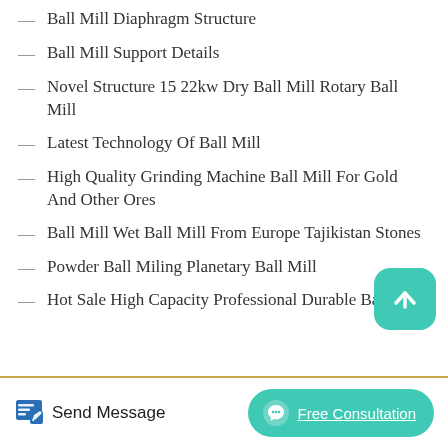Ball Mill Diaphragm Structure
Ball Mill Support Details
Novel Structure 15 22kw Dry Ball Mill Rotary Ball Mill
Latest Technology Of Ball Mill
High Quality Grinding Machine Ball Mill For Gold And Other Ores
Ball Mill Wet Ball Mill From Europe Tajikistan Stones
Powder Ball Miling Planetary Ball Mill
Hot Sale High Capacity Professional Durable Ball Mill
Send Message   Free Consultation